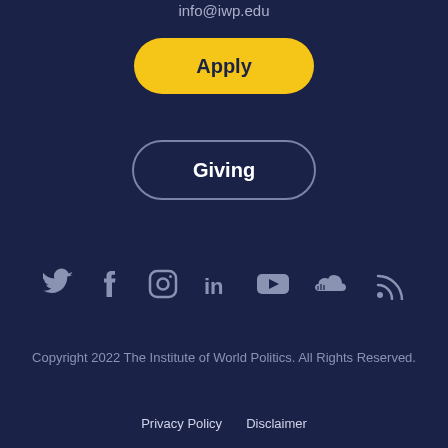info@iwp.edu
Apply
Giving
[Figure (infographic): Row of social media icons: Twitter, Facebook, Instagram, LinkedIn, YouTube, SoundCloud, RSS feed]
Copyright 2022 The Institute of World Politics. All Rights Reserved.
Privacy Policy   Disclaimer